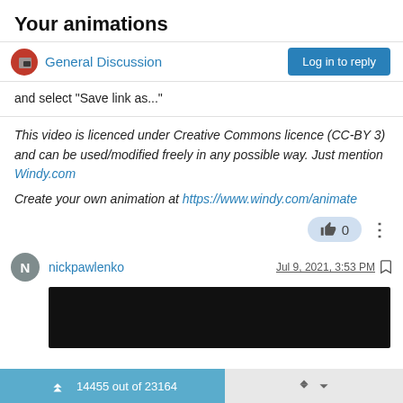Your animations
General Discussion
and select "Save link as..."
This video is licenced under Creative Commons licence (CC-BY 3) and can be used/modified freely in any possible way. Just mention Windy.com

Create your own animation at https://www.windy.com/animate
nickpawlenko  Jul 9, 2021, 3:53 PM
[Figure (screenshot): Black video thumbnail area]
14455 out of 23164